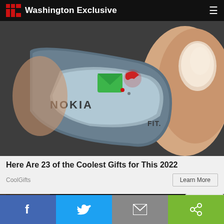Washington Exclusive
[Figure (photo): Close-up photo of a Nokia ring/wearable device with green envelope icon and red phone icon buttons, held between a person's fingers on a textured dark background. Text 'NOKIA' and 'FIT.' visible on the device.]
Here Are 23 of the Coolest Gifts for This 2022
CoolGifts
[Figure (photo): Partial view of a dark image, partially obscured by a reCAPTCHA logo overlay in the bottom right corner.]
f  (Twitter bird)  (envelope)  (share)